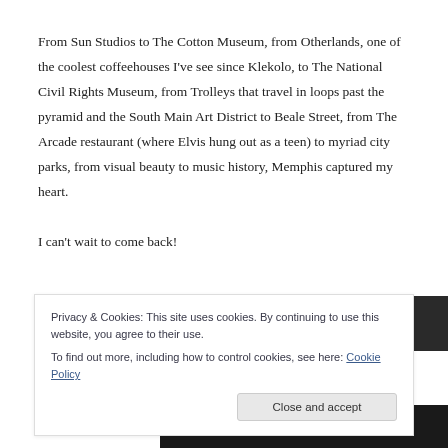From Sun Studios to The Cotton Museum, from Otherlands, one of the coolest coffeehouses I've see since Klekolo, to The National Civil Rights Museum, from Trolleys that travel in loops past the pyramid and the South Main Art District to Beale Street, from The Arcade restaurant (where Elvis hung out as a teen) to myriad city parks, from visual beauty to music history, Memphis captured my heart.

I can't wait to come back!
[Figure (photo): Partial view of a dark photograph, likely a street or venue scene in Memphis]
Privacy & Cookies: This site uses cookies. By continuing to use this website, you agree to their use.
To find out more, including how to control cookies, see here: Cookie Policy
Close and accept